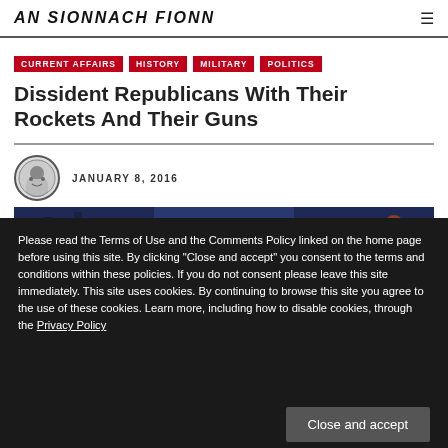AN SIONNACH FIONN
CURRENT AFFAIRS
HISTORY
MILITARY
POLITICS
Dissident Republicans With Their Rockets And Their Guns
JANUARY 8, 2016
[Figure (photo): Photograph related to the article about dissident republicans, showing what appears to be a garda press conference or display with blue banners.]
Please read the Terms of Use and the Comments Policy linked on the home page before using this site. By clicking "Close and accept" you consent to the terms and conditions within these policies. If you do not consent please leave this site immediately. This site uses cookies. By continuing to browse this site you agree to the use of these cookies. Learn more, including how to disable cookies, through the Privacy Policy
Close and accept